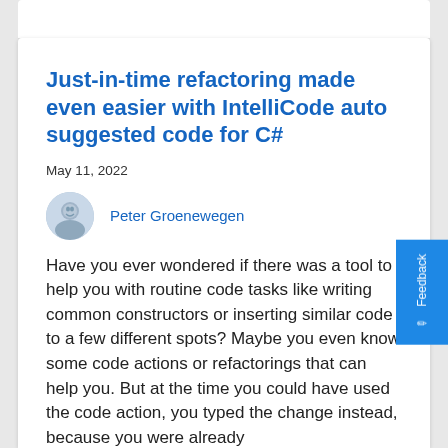Just-in-time refactoring made even easier with IntelliCode auto suggested code for C#
May 11, 2022
Peter Groenewegen
Have you ever wondered if there was a tool to help you with routine code tasks like writing common constructors or inserting similar code to a few different spots? Maybe you even know some code actions or refactorings that can help you. But at the time you could have used the code action, you typed the change instead, because you were already...